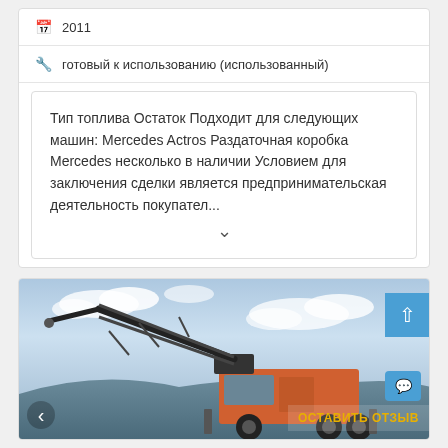2011
готовый к использованию (использованный)
Тип топлива Остаток Подходит для следующих машин: Mercedes Actros Раздаточная коробка Mercedes несколько в наличии Условием для заключения сделки является предпринимательская деятельность покупател...
[Figure (photo): A crane truck with an extended boom arm, photographed against a partially cloudy sky. The truck cab is orange/red colored.]